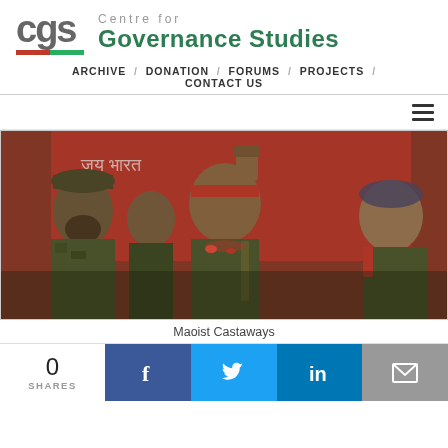[Figure (logo): CGS Centre for Governance Studies logo with red and green underline]
ARCHIVE / DONATION / FORUMS / PROJECTS / CONTACT US
[Figure (photo): People in camouflage military attire with red bandana, raising fist, in front of red banner with text. Maoist-themed scene.]
Maoist Castaways
0 SHARES